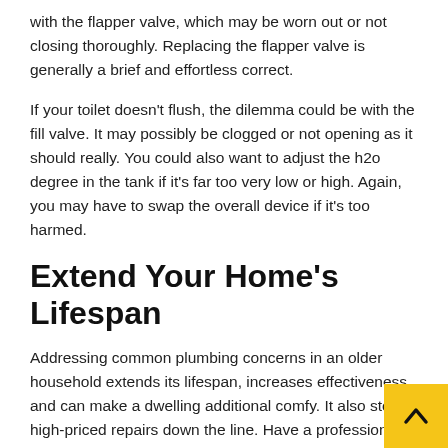with the flapper valve, which may be worn out or not closing thoroughly. Replacing the flapper valve is generally a brief and effortless correct.
If your toilet doesn't flush, the dilemma could be with the fill valve. It may possibly be clogged or not opening as it should really. You could also want to adjust the h2o degree in the tank if it's far too very low or high. Again, you may have to swap the overall device if it's too harmed.
Extend Your Home's Lifespan
Addressing common plumbing concerns in an older household extends its lifespan, increases effectiveness, and can make a dwelling additional comfy. It also stops high-priced repairs down the line. Have a professional examine your plumbing procedure consistently to catch challenges early on.